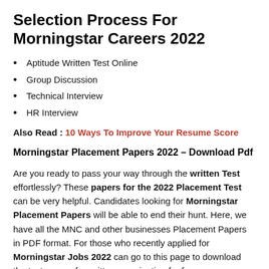Selection Process For Morningstar Careers 2022
Aptitude Written Test Online
Group Discussion
Technical Interview
HR Interview
Also Read : 10 Ways To Improve Your Resume Score
Morningstar Placement Papers 2022 – Download Pdf
Are you ready to pass your way through the written Test effortlessly? These papers for the 2022 Placement Test can be very helpful. Candidates looking for Morningstar Placement Papers will be able to end their hunt. Here, we have all the MNC and other businesses Placement Papers in PDF format. For those who recently applied for Morningstar Jobs 2022 can go to this page to download the test papers for written examination for free.